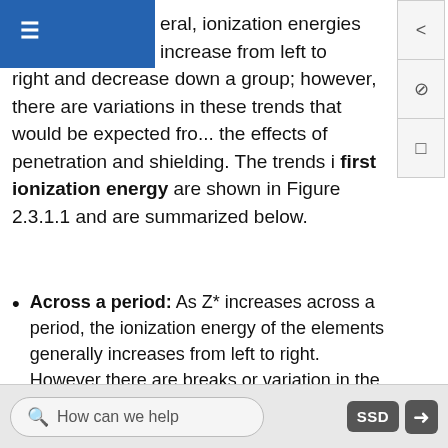≡
eral, ionization energies increase from left to right and decrease down a group; however, there are variations in these trends that would be expected from the effects of penetration and shielding. The trends in first ionization energy are shown in Figure 2.3.1.1 and are summarized below.
Across a period: As Z* increases across a period, the ionization energy of the elements generally increases from left to right. However there are breaks or variation in the trends in the following cases:
IE is especially low when removal of an electron creates a newly empty p subshell (examples include I₁ of B, Al, Sc)
How can we help